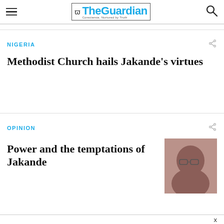The Guardian — Conscience, Nurtured by Truth
NIGERIA
Methodist Church hails Jakande's virtues
OPINION
Power and the temptations of Jakande
[Figure (photo): Thumbnail portrait photo of a person wearing glasses, used as article image for the Opinion section.]